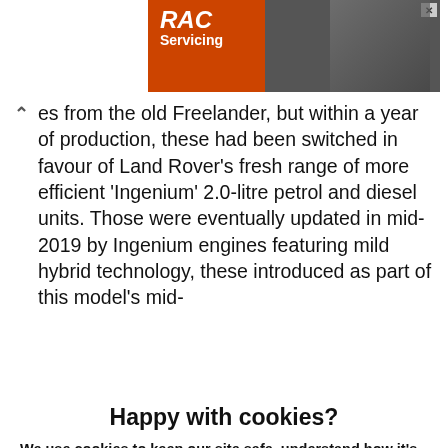[Figure (advertisement): RAC Servicing advertisement banner with orange and dark background, showing a mechanic in orange uniform]
...es from the old Freelander, but within a year of production, these had been switched in favour of Land Rover's fresh range of more efficient 'Ingenium' 2.0-litre petrol and diesel units. Those were eventually updated in mid-2019 by Ingenium engines featuring mild hybrid technology, these introduced as part of this model's mid-
Happy with cookies?
We use cookies to keep our site safe, understand how it's used, give you a better experience and show you more relevant ads. Read how we - and our partners - use cookies.
Yes, that's fine
No, manage cookies